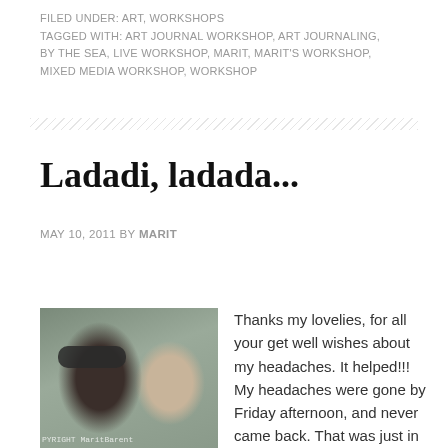FILED UNDER: ART, WORKSHOPS
TAGGED WITH: ART JOURNAL WORKSHOP, ART JOURNALING, BY THE SEA, LIVE WORKSHOP, MARIT, MARIT'S WORKSHOP, MIXED MEDIA WORKSHOP, WORKSHOP
Ladadi, ladada...
MAY 10, 2011 BY MARIT
25 COMMENTS
[Figure (photo): A selfie photo of two people, one wearing dark sunglasses, with copyright watermark reading 'COPYRIGHT MaritBarent']
Thanks my lovelies, for all your get well wishes about my headaches. It helped!!! My headaches were gone by Friday afternoon, and never came back. That was just in time, because I spend the weekend in sunny Zeeland with my parents...